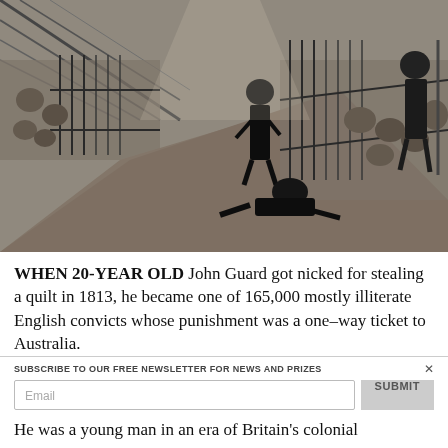[Figure (illustration): A black and white engraving depicting the interior of a prison ship or hulk. Guards walk along a central corridor flanked by cage-like cells filled with prisoners. One figure kneels or crawls on the floor in the foreground. The scene is rendered in detailed cross-hatching typical of Victorian-era illustrations.]
WHEN 20-YEAR OLD John Guard got nicked for stealing a quilt in 1813, he became one of 165,000 mostly illiterate English convicts whose punishment was a one–way ticket to Australia.
SUBSCRIBE TO OUR FREE NEWSLETTER FOR NEWS AND PRIZES
He was a young man in an era of Britain's colonial